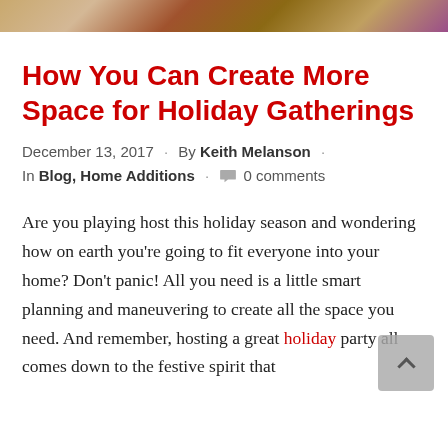[Figure (photo): Partial photo strip at top of page showing holiday scene with gifts and colorful background]
How You Can Create More Space for Holiday Gatherings
December 13, 2017 · By Keith Melanson · In Blog, Home Additions · 0 comments
Are you playing host this holiday season and wondering how on earth you're going to fit everyone into your home? Don't panic! All you need is a little smart planning and maneuvering to create all the space you need. And remember, hosting a great holiday party all comes down to the festive spirit that